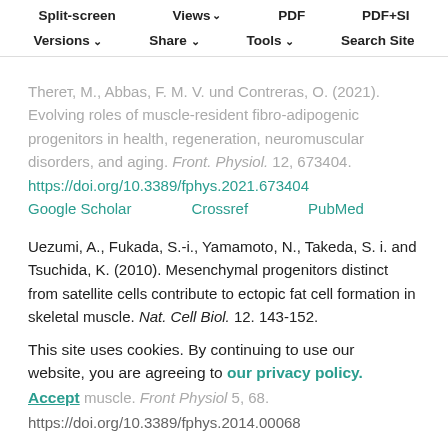Split-screen | Views | PDF | PDF+SI | Versions | Share | Tools | Search Site
Therет, M., Abbas, F. M. V. und Contreras, O. (2021). Evolving roles of muscle-resident fibro-adipogenic progenitors in health, regeneration, neuromuscular disorders, and aging. Front. Physiol. 12, 673404. https://doi.org/10.3389/fphys.2021.673404
Google Scholar   Crossref   PubMed
Uezumi, A., Fukada, S.-i., Yamamoto, N., Takeda, S. i. and Tsuchida, K. (2010). Mesenchymal progenitors distinct from satellite cells contribute to ectopic fat cell formation in skeletal muscle. Nat. Cell Biol. 12, 143-152. https://doi.org/10.1038/ncb2014
Google Scholar   Crossref   PubMed
Uezumi, A., Ikemoto, Uezumi, M. and Tsuchida, K.
This site uses cookies. By continuing to use our website, you are agreeing to our privacy policy. Accept